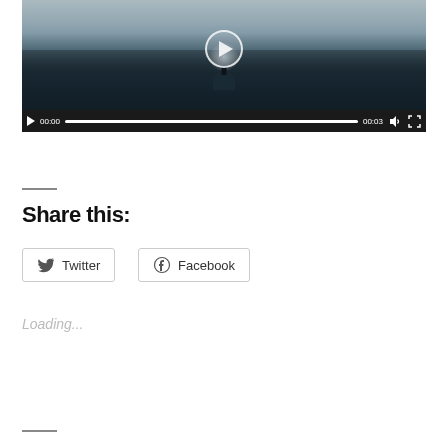[Figure (screenshot): Video player showing a cinematic scene of a figure standing on a rock amid dark clouds/mist, with video controls bar at bottom showing 00:00 / 00:03 timestamps]
Share this:
Twitter
Facebook
Loading...